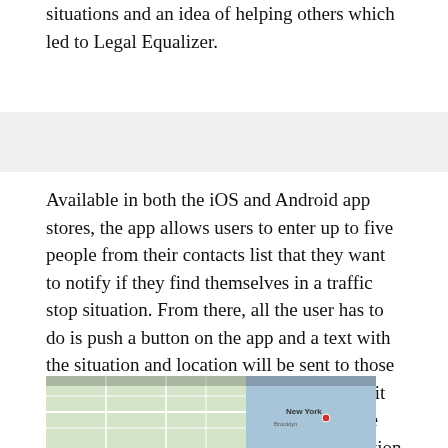situations and an idea of helping others which led to Legal Equalizer.
Available in both the iOS and Android app stores, the app allows users to enter up to five people from their contacts list that they want to notify if they find themselves in a traffic stop situation. From there, all the user has to do is push a button on the app and a text with the situation and location will be sent to those contacts. Furthermore, in the latest update, it allows the user to send a zoom link to those contacts so they can listen in on the interaction between the user and officer.
[Figure (map): Map image showing New York area street map]